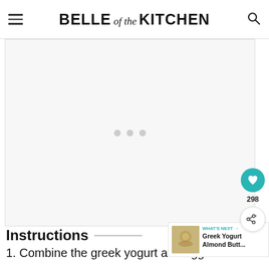BELLE of the KITCHEN
[Figure (other): Advertisement placeholder area with three loading dots in the center]
[Figure (other): Social sidebar with heart/save button showing 298 saves and a share button]
Instructions
[Figure (other): What's Next promotional box with thumbnail image and text: Greek Yogurt Almond Butt...]
1. Combine the greek yogurt and eggs in a